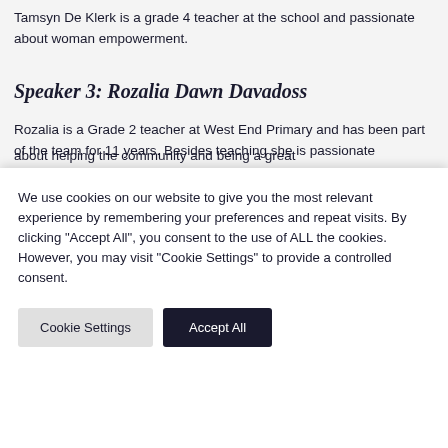Tamsyn De Klerk is a grade 4 teacher at the school and passionate about woman empowerment.
Speaker 3: Rozalia Dawn Davadoss
Rozalia is a Grade 2 teacher at West End Primary and has been part of the team for 11 years. Besides teaching she is passionate about helping the community and being a great...
We use cookies on our website to give you the most relevant experience by remembering your preferences and repeat visits. By clicking "Accept All", you consent to the use of ALL the cookies. However, you may visit "Cookie Settings" to provide a controlled consent.